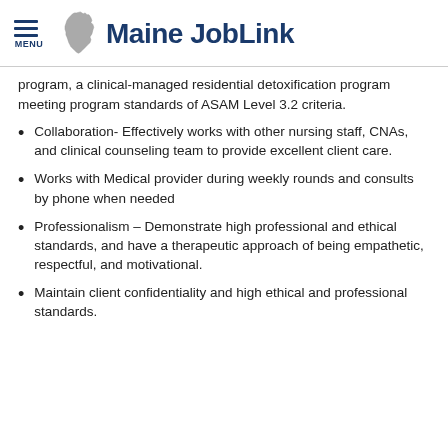Maine JobLink
program, a clinical-managed residential detoxification program meeting program standards of ASAM Level 3.2 criteria.
Collaboration- Effectively works with other nursing staff, CNAs, and clinical counseling team to provide excellent client care.
Works with Medical provider during weekly rounds and consults by phone when needed
Professionalism – Demonstrate high professional and ethical standards, and have a therapeutic approach of being empathetic, respectful, and motivational.
Maintain client confidentiality and high ethical and professional standards.